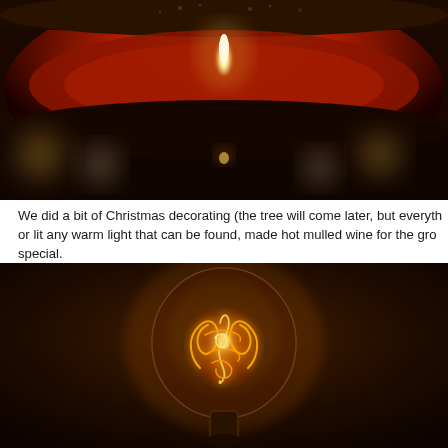[Figure (photo): Close-up macro photograph of a lit candle seen through glass or a jar, showing a bright white flame against a deep red interior, with a reflection of the flame visible below, and blurred bokeh lights in the background. Dark, warm-toned image.]
We did a bit of Christmas decorating (the tree will come later, but everyth or lit any warm light that can be found, made hot mulled wine for the gro special.
[Figure (photo): Close-up photograph of a vintage Edison-style incandescent light bulb glowing warmly against a dark brown/amber background. The bulb's intricate filament is clearly visible, emitting a warm orange-gold glow with swirling filament patterns inside the round glass globe.]